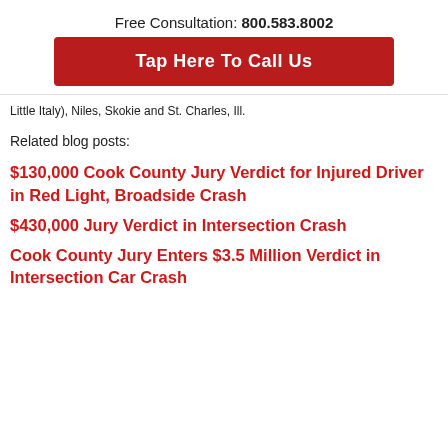Free Consultation: 800.583.8002
[Figure (other): Red call-to-action button: Tap Here To Call Us]
Little Italy), Niles, Skokie and St. Charles, Ill.
Related blog posts:
$130,000 Cook County Jury Verdict for Injured Driver in Red Light, Broadside Crash
$430,000 Jury Verdict in Intersection Crash
Cook County Jury Enters $3.5 Million Verdict in Intersection Car Crash